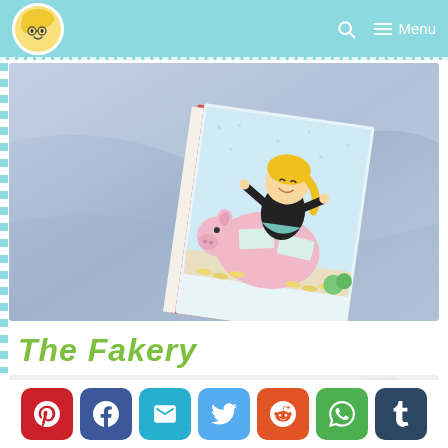Menu
[Figure (photo): A book lying on blue fabric, with an illustrated cover showing a cartoon blonde girl sitting on a piggy bank surrounded by stacked coins and money labels]
The Fakery
[Figure (photo): Partially visible second image showing what appears to be cards or papers on a light surface]
[Figure (infographic): Social sharing buttons row: Pinterest, Facebook, Email, Twitter, Reddit, WhatsApp, Tumblr]